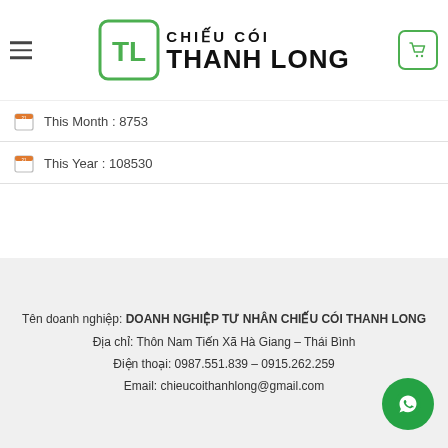CHIẾU CÓI THANH LONG
This Month : 8753
This Year : 108530
Tên doanh nghiệp: DOANH NGHIỆP TƯ NHÂN CHIẾU CÓI THANH LONG
Địa chỉ: Thôn Nam Tiến Xã Hà Giang – Thái Bình
Điện thoại: 0987.551.839 – 0915.262.259
Email: chieucoithanhlong@gmail.com